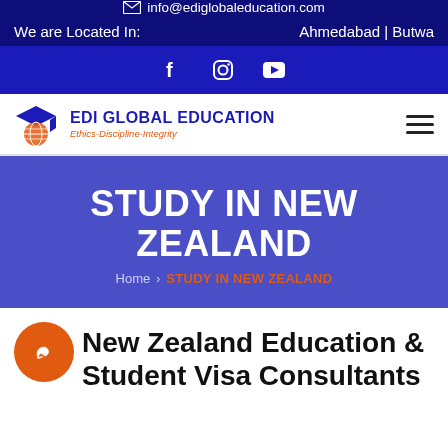info@ediglobaleducation.com
We are Located In:    Ahmedabad | Butwa
[Figure (logo): Social media icons: Facebook, Instagram, YouTube on dark blue bar]
[Figure (logo): EDI Global Education logo with graduation cap and globe, tagline Ethics-Discipline-Integrity]
STUDY IN NEW ZEALAND
Home  ›  STUDY IN NEW ZEALAND
[Figure (logo): WhatsApp orange circle button icon]
New Zealand Education & Student Visa Consultants